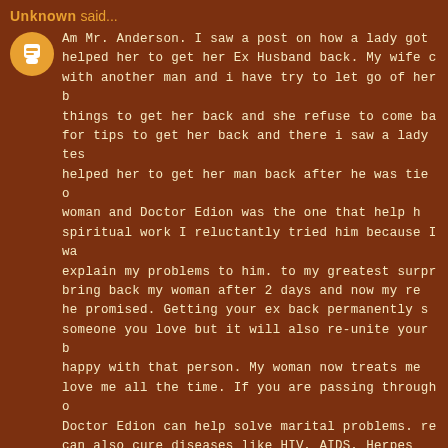Unknown said...
Am Mr. Anderson, I saw a post on how a lady got helped her to get her Ex Husband back. My wife c with another man and i have try to let go of her b things to get her back and she refuse to come ba for tips to get her back and there i saw a lady tes helped her to get her man back after he was tie o woman and Doctor Edion was the one that help h spiritual work I reluctantly tried him because I wa explain my problems to him. to my greatest surpr bring back my woman after 2 days and now my re he promised. Getting your ex back permanently s someone you love but it will also re-unite your b happy with that person. My woman now treats me love me all the time. If you are passing through o Doctor Edion can help solve marital problems. re can also cure diseases like HIV, AIDS, Herpes Viru urgent help. Email: Ediontempl@gmail.com or Wh
December 13, 2018 at 10:42 PM